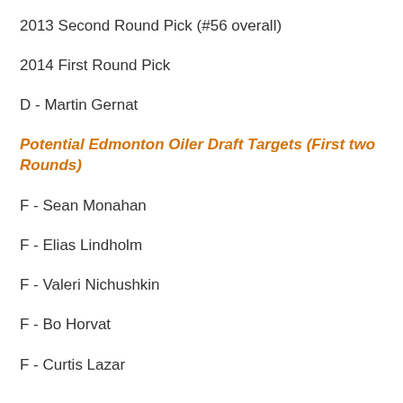2013 Second Round Pick (#56 overall)
2014 First Round Pick
D - Martin Gernat
Potential Edmonton Oiler Draft Targets (First two Rounds)
F - Sean Monahan
F - Elias Lindholm
F - Valeri Nichushkin
F - Bo Horvat
F - Curtis Lazar